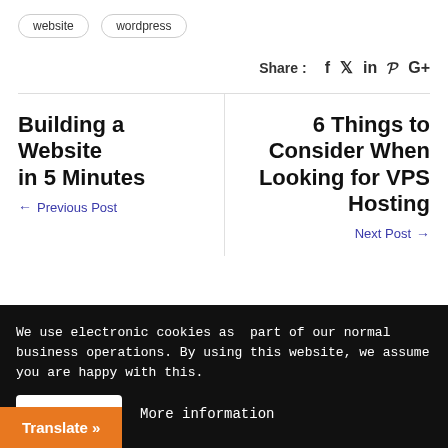website
wordpress
Share : f  in  p  G+
Building a Website in 5 Minutes
← Previous Post
6 Things to Consider When Looking for VPS Hosting
Next Post →
We use electronic cookies as part of our normal business operations. By using this website, we assume you are happy with this.
Accept
More information
Translate »